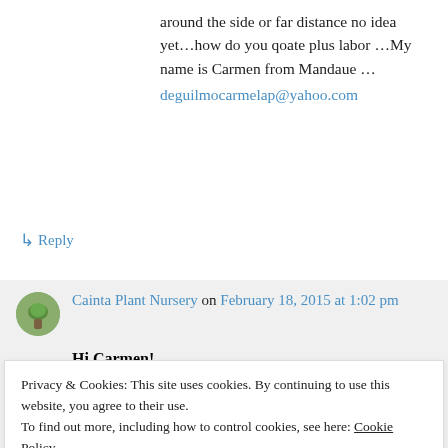around the side or far distance no idea yet…how do you qoate plus labor …My name is Carmen from Mandaue …
deguilmocarmelap@yahoo.com
↳ Reply
Cainta Plant Nursery on February 18, 2015 at 1:02 pm
Hi Carmen!
Privacy & Cookies: This site uses cookies. By continuing to use this website, you agree to their use.
To find out more, including how to control cookies, see here: Cookie Policy
Close and accept
Luz Ramos on February 3, 2015 at 1:05 pm